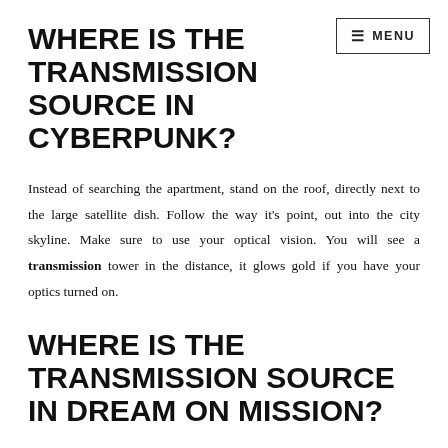WHERE IS THE TRANSMISSION SOURCE IN CYBERPUNK?
Instead of searching the apartment, stand on the roof, directly next to the large satellite dish. Follow the way it's point, out into the city skyline. Make sure to use your optical vision. You will see a transmission tower in the distance, it glows gold if you have your optics turned on.
WHERE IS THE TRANSMISSION SOURCE IN DREAM ON MISSION?